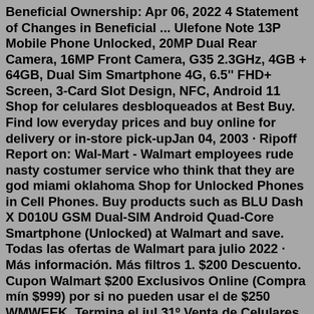Beneficial Ownership: Apr 06, 2022 4 Statement of Changes in Beneficial ... Ulefone Note 13P Mobile Phone Unlocked, 20MP Dual Rear Camera, 16MP Front Camera, G35 2.3GHz, 4GB + 64GB, Dual Sim Smartphone 4G, 6.5'' FHD+ Screen, 3-Card Slot Design, NFC, Android 11 Shop for celulares desbloqueados at Best Buy. Find low everyday prices and buy online for delivery or in-store pick-upJan 04, 2003 · Ripoff Report on: Wal-Mart - Walmart employees rude nasty costumer service who think that they are god miami oklahoma Shop for Unlocked Phones in Cell Phones. Buy products such as BLU Dash X D010U GSM Dual-SIM Android Quad-Core Smartphone (Unlocked) at Walmart and save. Todas las ofertas de Walmart para julio 2022 · Más información. Más filtros 1. $200 Descuento. Cupon Walmart $200 Exclusivos Online (Compra mín $999) por si no pueden usar el de $250 WMWEEK. Termina el jul 31º.Venta de Celulares Iphone, Samsung Galaxy, Motorola, Sony, LG, BLU desbloqueados al mayor y detal, Laptops, Tablas y mucho más.